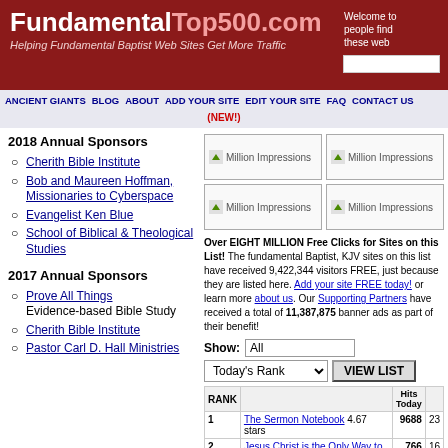FundamentalTop500.com — Helping Fundamental Baptist Web Sites Get More Traffic
2018 Annual Sponsors
Cherith Bible Institute
Bob and Maureen Hoffman, Missionaries to Cyberspace
Evangelist Ken Blue
School of Biblical & Theological Studies
2017 Annual Sponsors
Prove All Things — Evidence-based Bible Study
Cherith Bible Institute
Pastor Carl D. Hall Ministries
[Figure (other): Four Million Impressions banner ad placeholders in a 2x2 grid]
Over EIGHT MILLION Free Clicks for Sites on this List! The fundamental Baptist, KJV sites on this list have received 9,422,344 visitors FREE, just because they are listed here. Add your site FREE today! or learn more about us. Our Supporting Partners have received a total of 11,387,875 banner ads as part of their benefit!
| RANK |  | Hits Today |  |
| --- | --- | --- | --- |
| 1 | The Sermon Notebook 4.67 stars | 9688 | 23 |
| 2 | Jesus Christ is the Only Way to Heaven! | 766 | 16 |
| 3 | The | 485 | 16 |